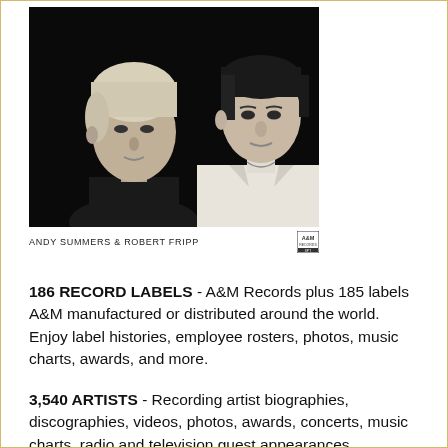[Figure (photo): Black and white press photo of Andy Summers and Robert Fripp, two men side by side against dark background]
ANDY SUMMERS & ROBERT FRIPP
186 RECORD LABELS - A&M Records plus 185 labels A&M manufactured or distributed around the world. Enjoy label histories, employee rosters, photos, music charts, awards, and more.
3,540 ARTISTS - Recording artist biographies, discographies, videos, photos, awards, concerts, music charts, radio and television guest appearances